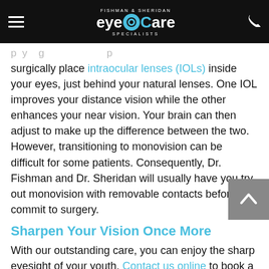[Figure (logo): Fishman & Sheridan eyeCare Specialists logo on black header bar with hamburger menu and phone icon]
[faded/partial text from previous section]
surgically place intraocular lenses (IOLs) inside your eyes, just behind your natural lenses. One IOL improves your distance vision while the other enhances your near vision. Your brain can then adjust to make up the difference between the two. However, transitioning to monovision can be difficult for some patients. Consequently, Dr. Fishman and Dr. Sheridan will usually have you try out monovision with removable contacts before you commit to surgery.
Sharpen Your Vision Once More
With our outstanding care, you can enjoy the sharp eyesight of your youth. Contact us online to book a